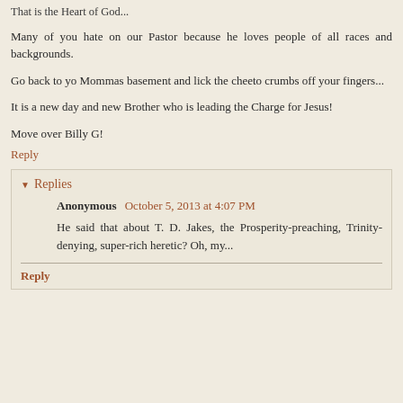That is the Heart of God...
Many of you hate on our Pastor because he loves people of all races and backgrounds.
Go back to yo Mommas basement and lick the cheeto crumbs off your fingers...
It is a new day and new Brother who is leading the Charge for Jesus!
Move over Billy G!
Reply
Replies
Anonymous  October 5, 2013 at 4:07 PM
He said that about T. D. Jakes, the Prosperity-preaching, Trinity-denying, super-rich heretic? Oh, my...
Reply